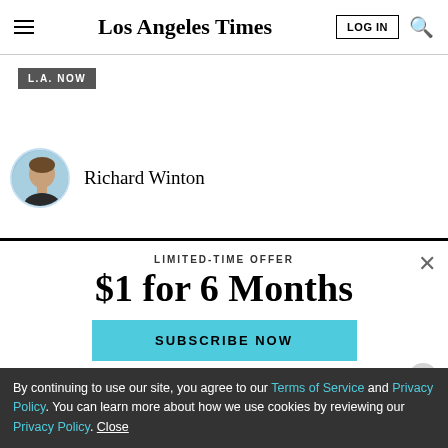Los Angeles Times — LOG IN, search icon
L.A. NOW
Richard Winton
LIMITED-TIME OFFER
$1 for 6 Months
SUBSCRIBE NOW
By continuing to use our site, you agree to our Terms of Service and Privacy Policy. You can learn more about how we use cookies by reviewing our Privacy Policy. Close